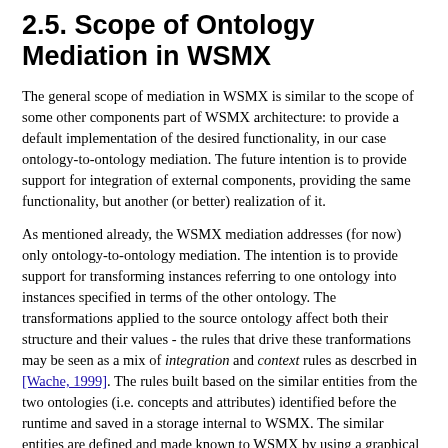2.5. Scope of Ontology Mediation in WSMX
The general scope of mediation in WSMX is similar to the scope of some other components part of WSMX architecture: to provide a default implementation of the desired functionality, in our case ontology-to-ontology mediation. The future intention is to provide support for integration of external components, providing the same functionality, but another (or better) realization of it.
As mentioned already, the WSMX mediation addresses (for now) only ontology-to-ontology mediation. The intention is to provide support for transforming instances referring to one ontology into instances specified in terms of the other ontology. The transformations applied to the source ontology affect both their structure and their values - the rules that drive these tranformations may be seen as a mix of integration and context rules as descrbed in [Wache, 1999]. The rules built based on the similar entities from the two ontologies (i.e. concepts and attributes) identified before the runtime and saved in a storage internal to WSMX. The similar entities are defined and made known to WSMX by using a graphical user interface which allows the user to place his inputs and guides him/her through the entire process. Though the similar entities are identified based on human inputs (choices, validations etc.), the rest of the process (rules generation and instances